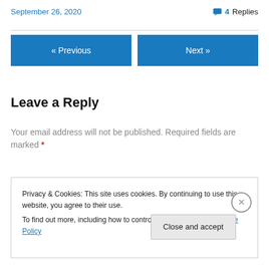September 26, 2020
4 Replies
« Previous
Next »
Leave a Reply
Your email address will not be published. Required fields are marked *
Privacy & Cookies: This site uses cookies. By continuing to use this website, you agree to their use.
To find out more, including how to control cookies, see here: Cookie Policy
Close and accept